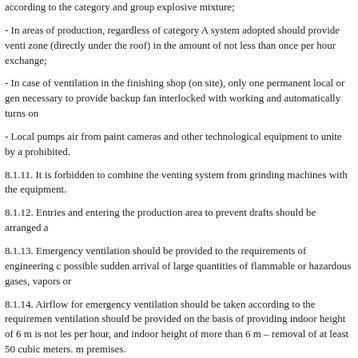according to the category and group explosive mixture;
- In areas of production, regardless of category A system adopted should provide venti zone (directly under the roof) in the amount of not less than once per hour exchange;
- In case of ventilation in the finishing shop (on site), only one permanent local or gen necessary to provide backup fan interlocked with working and automatically turns on
- Local pumps air from paint cameras and other technological equipment to unite by a prohibited.
8.1.11. It is forbidden to combine the venting system from grinding machines with the equipment.
8.1.12. Entries and entering the production area to prevent drafts should be arranged a
8.1.13. Emergency ventilation should be provided to the requirements of engineering c possible sudden arrival of large quantities of flammable or hazardous gases, vapors or
8.1.14. Airflow for emergency ventilation should be taken according to the requiremen ventilation should be provided on the basis of providing indoor height of 6 m is not les per hour, and indoor height of more than 6 m – removal of at least 50 cubic meters. m premises.